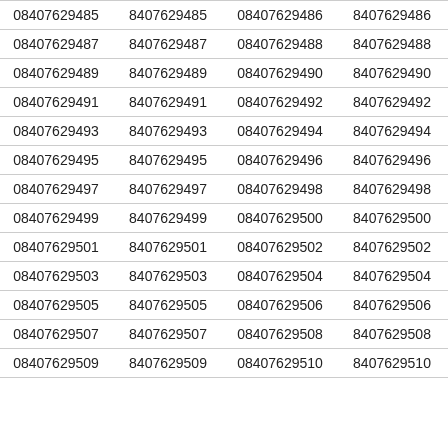| 08407629485 | 8407629485 | 08407629486 | 8407629486 |
| 08407629487 | 8407629487 | 08407629488 | 8407629488 |
| 08407629489 | 8407629489 | 08407629490 | 8407629490 |
| 08407629491 | 8407629491 | 08407629492 | 8407629492 |
| 08407629493 | 8407629493 | 08407629494 | 8407629494 |
| 08407629495 | 8407629495 | 08407629496 | 8407629496 |
| 08407629497 | 8407629497 | 08407629498 | 8407629498 |
| 08407629499 | 8407629499 | 08407629500 | 8407629500 |
| 08407629501 | 8407629501 | 08407629502 | 8407629502 |
| 08407629503 | 8407629503 | 08407629504 | 8407629504 |
| 08407629505 | 8407629505 | 08407629506 | 8407629506 |
| 08407629507 | 8407629507 | 08407629508 | 8407629508 |
| 08407629509 | 8407629509 | 08407629510 | 8407629510 |